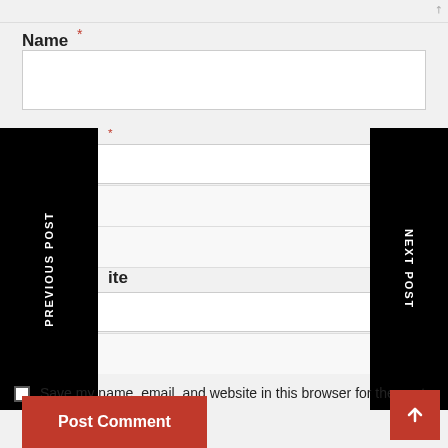Name *
[Figure (screenshot): Empty name input text field]
* (email required star)
[Figure (screenshot): Empty email input text field with horizontal lines]
ite (website label partial)
[Figure (screenshot): Empty website input text field]
PREVIOUS POST
NEXT POST
Save my name, email, and website in this browser for the next time I comment.
Post Comment
[Figure (other): Scroll to top arrow button]